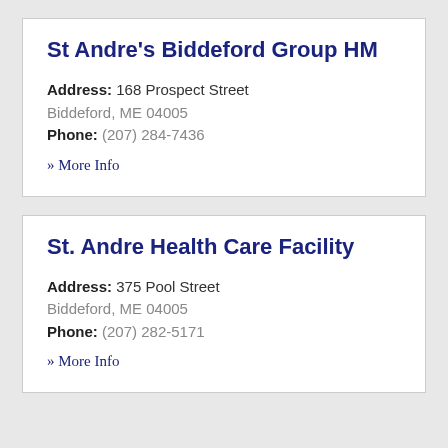St Andre's Biddeford Group HM
Address: 168 Prospect Street
Biddeford, ME 04005
Phone: (207) 284-7436
» More Info
St. Andre Health Care Facility
Address: 375 Pool Street
Biddeford, ME 04005
Phone: (207) 282-5171
» More Info